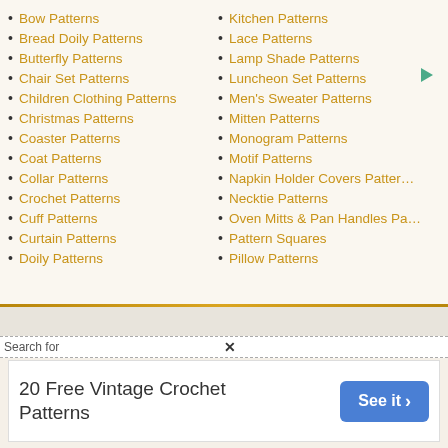Bow Patterns
Bread Doily Patterns
Butterfly Patterns
Chair Set Patterns
Children Clothing Patterns
Christmas Patterns
Coaster Patterns
Coat Patterns
Collar Patterns
Crochet Patterns
Cuff Patterns
Curtain Patterns
Doily Patterns
Kitchen Patterns
Lace Patterns
Lamp Shade Patterns
Luncheon Set Patterns
Men's Sweater Patterns
Mitten Patterns
Monogram Patterns
Motif Patterns
Napkin Holder Covers Patterns
Necktie Patterns
Oven Mitts & Pan Handles Patterns
Pattern Squares
Pillow Patterns
Search for
20 Free Vintage Crochet Patterns  See it ›